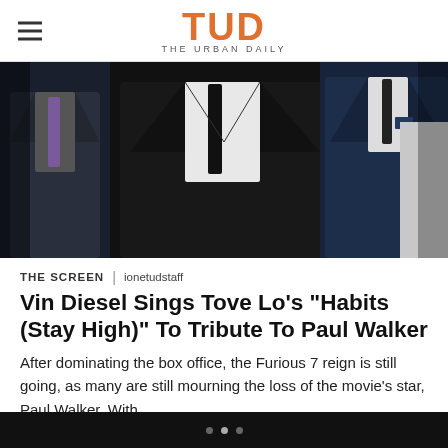TUD THE URBAN DAILY
[Figure (photo): Three men in dark suits standing on a blue carpet, photographed from chest level down, at what appears to be a movie premiere or formal event.]
THE SCREEN | ionetudstaff
Vin Diesel Sings Tove Lo’s “Habits (Stay High)” To Tribute To Paul Walker
After dominating the box office, the Furious 7 reign is still going, as many are still mourning the loss of the movie’s star, Paul Walker. With…